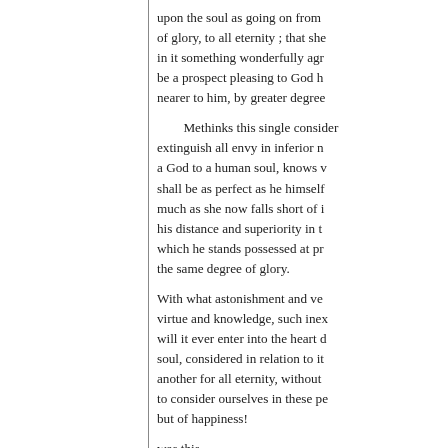upon the soul as going on from of glory, to all eternity ; that she in it something wonderfully agr be a prospect pleasing to God h nearer to him, by greater degree
Methinks this single consider extinguish all envy in inferior n a God to a human soul, knows v shall be as perfect as he himself much as she now falls short of i his distance and superiority in t which he stands possessed at pr the same degree of glory.
With what astonishment and ve virtue and knowledge, such inex will it ever enter into the heart d soul, considered in relation to it another for all eternity, without to consider ourselves in these pe but of happiness!
was this.